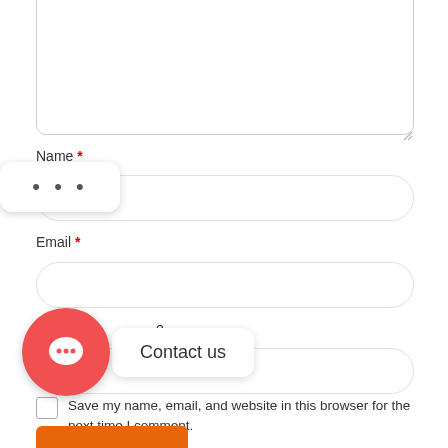[Figure (screenshot): A web form with textarea at top (partially visible), Name field with tooltip showing dots, Email field, Website field partially visible, a red circular chat button with speech bubble icon and 'Contact us' popup tooltip, a checkbox for saving browser info, and a partially visible orange submit button at bottom.]
Name *
Email *
Website
Contact us
Save my name, email, and website in this browser for the next time I comment.